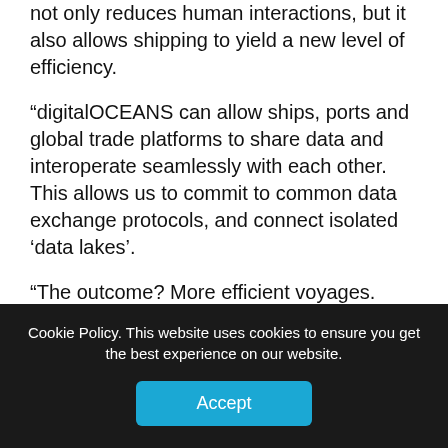not only reduces human interactions, but it also allows shipping to yield a new level of efficiency.
“digitalOCEANS can allow ships, ports and global trade platforms to share data and interoperate seamlessly with each other. This allows us to commit to common data exchange protocols, and connect isolated ‘data lakes’.
“The outcome? More efficient voyages. Lower resultant emissions. We have got some industry partners onboard and will be looking at bringing in port authorities to collaborate on digitalOCEANS.”
On decarbonisation, Hoon said the MPA receognised
Cookie Policy. This website uses cookies to ensure you get the best experience on our website.
Accept